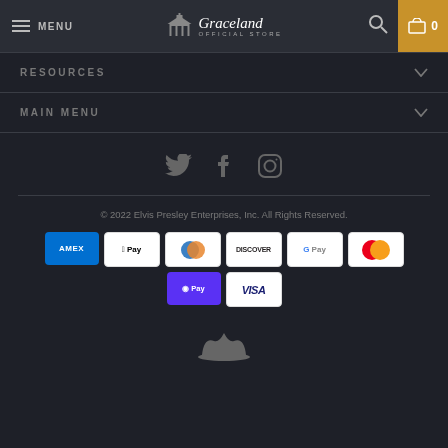MENU | Graceland Official Store | Search | Cart 0
RESOURCES
MAIN MENU
[Figure (illustration): Social media icons: Twitter, Facebook, Instagram]
© 2022 Elvis Presley Enterprises, Inc. All Rights Reserved.
[Figure (illustration): Payment method logos: AMEX, Apple Pay, Diners Club, Discover, Google Pay, Mastercard, Shop Pay, Visa]
[Figure (logo): Graceland crown/hat logo at bottom of page]